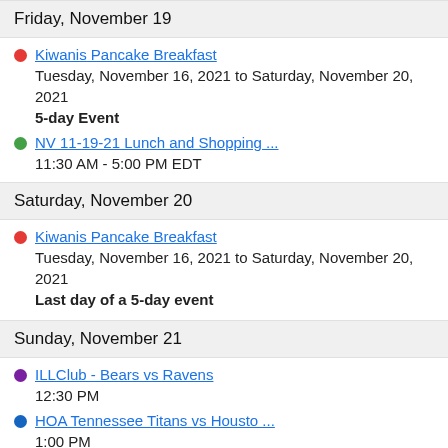Friday, November 19
Kiwanis Pancake Breakfast
Tuesday, November 16, 2021 to Saturday, November 20, 2021
5-day Event
NV 11-19-21 Lunch and Shopping ...
11:30 AM - 5:00 PM EDT
Saturday, November 20
Kiwanis Pancake Breakfast
Tuesday, November 16, 2021 to Saturday, November 20, 2021
Last day of a 5-day event
Sunday, November 21
ILLClub - Bears vs Ravens
12:30 PM
HOA Tennessee Titans vs Housto ...
1:00 PM